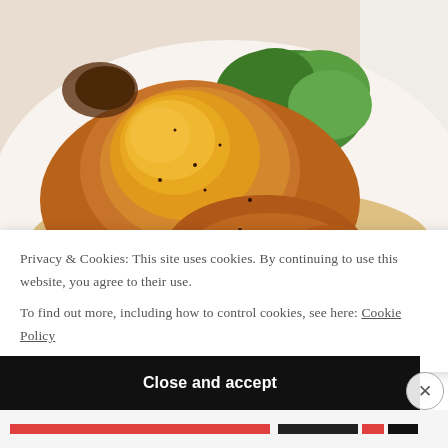[Figure (photo): A roasted chicken or poultry piece with golden-brown crispy skin, served on a white plate with a golden pan sauce/jus and bright green vegetables (mushy peas or pureed greens).]
Privacy & Cookies: This site uses cookies. By continuing to use this website, you agree to their use.
To find out more, including how to control cookies, see here: Cookie Policy
Close and accept